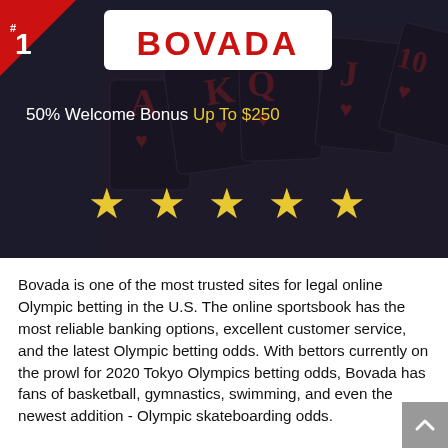[Figure (photo): Bovada casino banner with playing cards background (Ace, King, Queen, Jack, 10 of hearts), dark overlay, red triangle badge with #1, Bovada logo in white box, '50% Welcome Bonus Up To $250' text, and five gold stars]
Bovada is one of the most trusted sites for legal online Olympic betting in the U.S. The online sportsbook has the most reliable banking options, excellent customer service, and the latest Olympic betting odds. With bettors currently on the prowl for 2020 Tokyo Olympics betting odds, Bovada has fans of basketball, gymnastics, swimming, and even the newest addition - Olympic skateboarding odds.